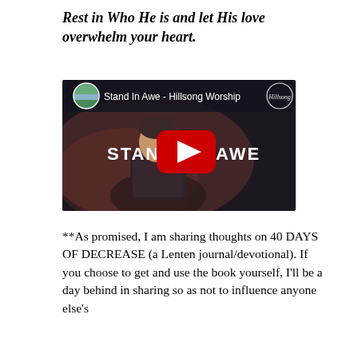Rest in Who He is and let His love overwhelm your heart.
[Figure (screenshot): YouTube video thumbnail for 'Stand In Awe - Hillsong Worship' showing a man singing into a microphone with text 'STAND IN AWE' and a red YouTube play button in the center.]
**As promised, I am sharing thoughts on 40 DAYS OF DECREASE (a Lenten journal/devotional). If you choose to get and use the book yourself, I'll be a day behind in sharing so as not to influence anyone else's